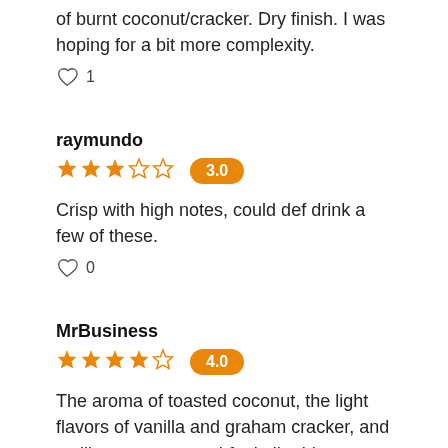of burnt coconut/cracker. Dry finish. I was hoping for a bit more complexity.
♡ 1
raymundo
★★★☆☆ 3.0
Crisp with high notes, could def drink a few of these.
♡ 0
MrBusiness
★★★★☆ 4.0
The aroma of toasted coconut, the light flavors of vanilla and graham cracker, and a silky, creamy mouthfeel all adds up to an impression of coconut cream pie rather than an outright imitation – but that's not really a bad thing.